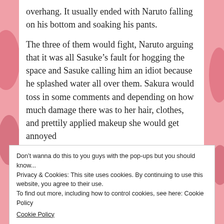overhang. It usually ended with Naruto falling on his bottom and soaking his pants.
The three of them would fight, Naruto arguing that it was all Sasuke’s fault for hogging the space and Sasuke calling him an idiot because he splashed water all over them. Sakura would toss in some comments and depending on how much damage there was to her hair, clothes, and prettily applied makeup she would get annoyed
Don’t wanna do this to you guys with the pop-ups but you should know...
Privacy & Cookies: This site uses cookies. By continuing to use this website, you agree to their use.
To find out more, including how to control cookies, see here: Cookie Policy
Cookie Policy
with them.